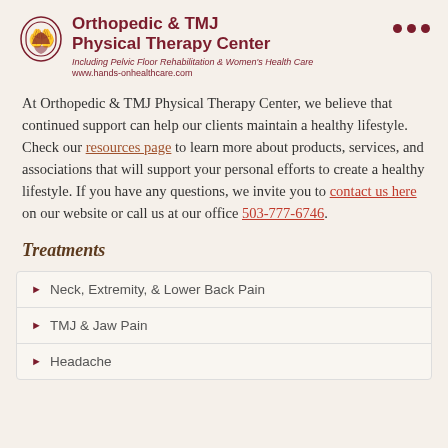Orthopedic & TMJ Physical Therapy Center
Including Pelvic Floor Rehabilitation & Women's Health Care
www.hands-onhealthcare.com
At Orthopedic & TMJ Physical Therapy Center, we believe that continued support can help our clients maintain a healthy lifestyle. Check our resources page to learn more about products, services, and associations that will support your personal efforts to create a healthy lifestyle. If you have any questions, we invite you to contact us here on our website or call us at our office 503-777-6746.
Treatments
Neck, Extremity, & Lower Back Pain
TMJ & Jaw Pain
Headache